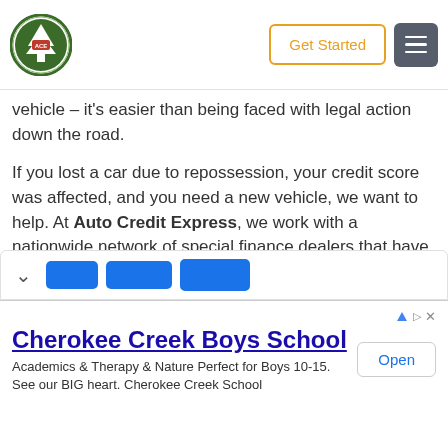Auto Credit Express logo | Get Started | Menu
vehicle – it's easier than being faced with legal action down the road.
If you lost a car due to repossession, your credit score was affected, and you need a new vehicle, we want to help. At Auto Credit Express, we work with a nationwide network of special finance dealers that have lenders available to work with people who've experienced repossession or are dealing with another unique credit situation. Simply fill out our free and easy auto loan request form to get started today.
[Figure (screenshot): Chevron expand icon and three blue tab buttons at bottom of article content area]
[Figure (screenshot): Advertisement banner for Cherokee Creek Boys School with Open button. Text: Academics & Therapy & Nature Perfect for Boys 10-15. See our BIG heart. Cherokee Creek School]